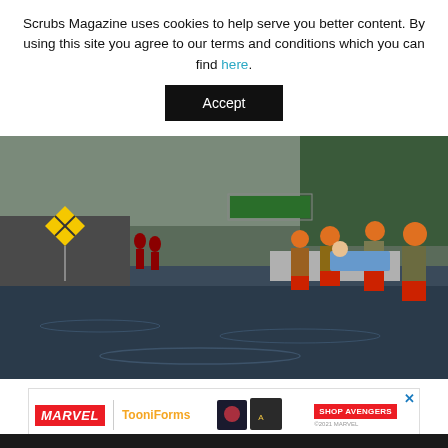Scrubs Magazine uses cookies to help serve you better content. By using this site you agree to our terms and conditions which you can find here.
Accept
[Figure (photo): Rescue workers in orange helmets and red life vests wading through floodwaters on a highway, carrying a person on a stretcher. Flooded road with submerged vehicles and green highway signs visible in the background.]
[Figure (advertisement): Marvel Toonifoms advertisement banner with shop Avengers text and images of t-shirts.]